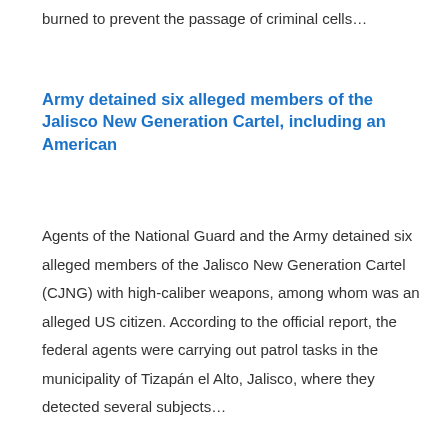burned to prevent the passage of criminal cells…
Army detained six alleged members of the Jalisco New Generation Cartel, including an American
Agents of the National Guard and the Army detained six alleged members of the Jalisco New Generation Cartel (CJNG) with high-caliber weapons, among whom was an alleged US citizen. According to the official report, the federal agents were carrying out patrol tasks in the municipality of Tizapán el Alto, Jalisco, where they detected several subjects…